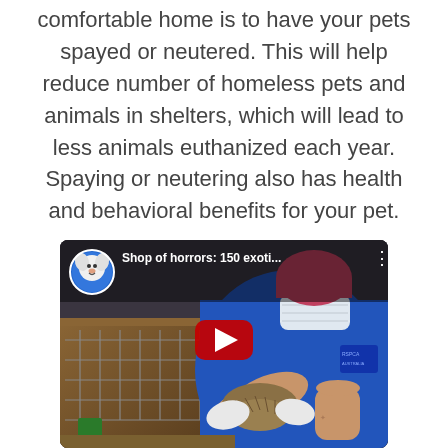comfortable home is to have your pets spayed or neutered. This will help reduce number of homeless pets and animals in shelters, which will lead to less animals euthanized each year. Spaying or neutering also has health and behavioral benefits for your pet.
[Figure (screenshot): YouTube video embed thumbnail showing a person in a blue shirt and mask handling an animal, with channel avatar of a white dog in a blue circle, title 'Shop of horrors: 150 exoti...' and a red YouTube play button overlay]